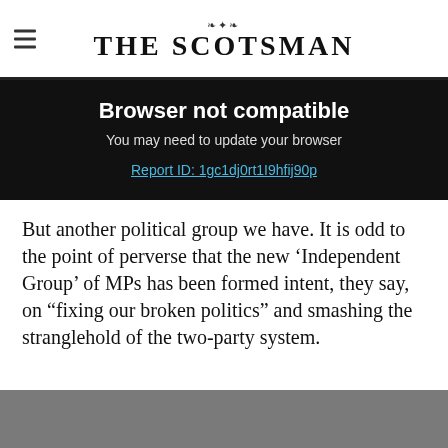THE SCOTSMAN
Browser not compatible
You may need to update your browser
Report ID: 1gc1dj0rt1I9hfij90p
But another political group we have. It is odd to the point of perverse that the new ‘Independent Group’ of MPs has been formed intent, they say, on “fixing our broken politics” and smashing the stranglehold of the two-party system.